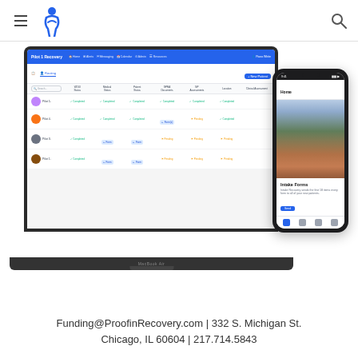Navigation header with hamburger menu, logo icon, and search icon
[Figure (screenshot): Screenshot of Proof in Recovery web application shown on a MacBook Air laptop and iPhone. The laptop displays a patient tracking dashboard with a blue navigation bar showing 'Pilot Recovery' branding, patient list with status columns (WDUI Status, Medical Status, Patient Status, GPRA Documents, NA Assessments, Location, Clinical Assessment). A mobile phone shows an 'Intake Forms' card with a scenic outdoor photo and navigation bar.]
Funding@ProofinRecovery.com  |   332 S. Michigan St.  Chicago, IL 60604   |   217.714.5843